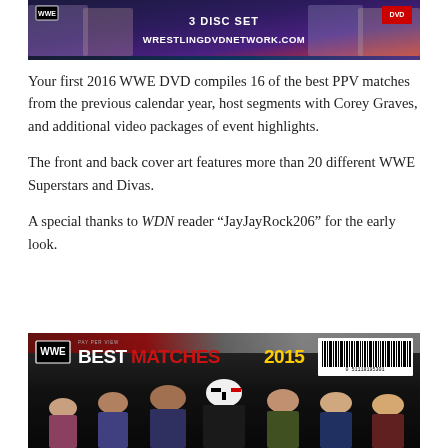[Figure (photo): WWE DVD 3 Disc Set top cover image with WrestlingDVDNetwork.com branding]
Your first 2016 WWE DVD compiles 16 of the best PPV matches from the previous calendar year, host segments with Corey Graves, and additional video packages of event highlights.
The front and back cover art features more than 20 different WWE Superstars and Divas.
A special thanks to WDN reader “JayJayRock206” for the early look.
[Figure (photo): WWE Pay Per View Best Matches 2015 DVD back cover with multiple WWE superstars including Sting, Sheamus, and others, with barcode]